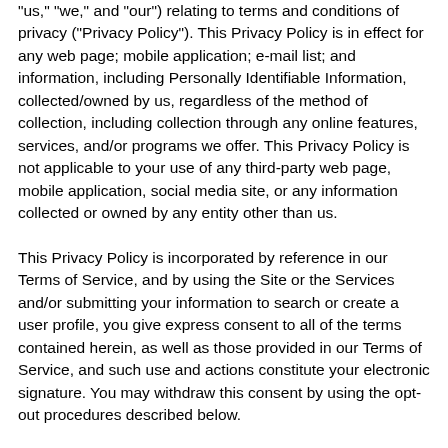"us," "we," and "our") relating to terms and conditions of privacy ("Privacy Policy"). This Privacy Policy is in effect for any web page; mobile application; e-mail list; and information, including Personally Identifiable Information, collected/owned by us, regardless of the method of collection, including collection through any online features, services, and/or programs we offer. This Privacy Policy is not applicable to your use of any third-party web page, mobile application, social media site, or any information collected or owned by any entity other than us.
This Privacy Policy is incorporated by reference in our Terms of Service, and by using the Site or the Services and/or submitting your information to search or create a user profile, you give express consent to all of the terms contained herein, as well as those provided in our Terms of Service, and such use and actions constitute your electronic signature. You may withdraw this consent by using the opt-out procedures described below.
COMMUNICATIONS